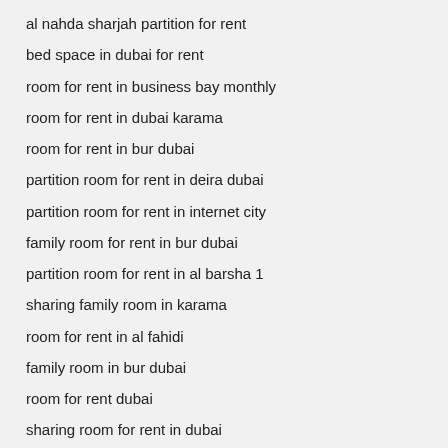al nahda sharjah partition for rent
bed space in dubai for rent
room for rent in business bay monthly
room for rent in dubai karama
room for rent in bur dubai
partition room for rent in deira dubai
partition room for rent in internet city
family room for rent in bur dubai
partition room for rent in al barsha 1
sharing family room in karama
room for rent in al fahidi
family room in bur dubai
room for rent dubai
sharing room for rent in dubai
room for rent karama
fully furnished studio for rent in dubai
cheapest family room for rent in al quoz